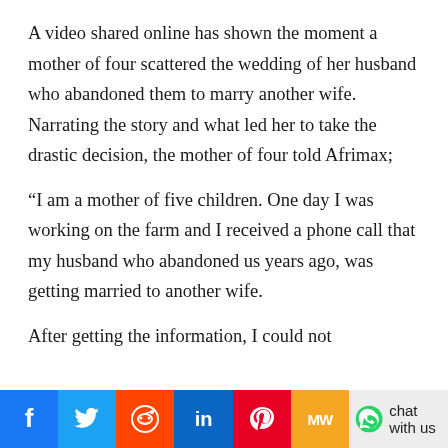A video shared online has shown the moment a mother of four scattered the wedding of her husband who abandoned them to marry another wife. Narrating the story and what led her to take the drastic decision, the mother of four told Afrimax;
“I am a mother of five children. One day I was working on the farm and I received a phone call that my husband who abandoned us years ago, was getting married to another wife.
After getting the information, I could not